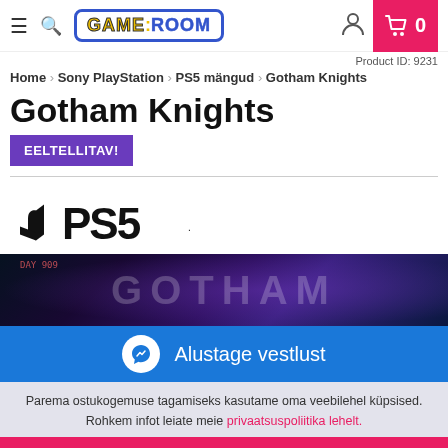[Figure (logo): GameRoom website navigation header with hamburger menu, search icon, GameRoom logo, user icon, and shopping cart with 0 items on pink background]
Product ID: 9231
Home > Sony PlayStation > PS5 mängud > Gotham Knights
Gotham Knights
EELTELLITAV!
[Figure (logo): PlayStation PS5 logo in black]
[Figure (photo): Gotham Knights game banner with dark purple/blue city background and GOTHAM text]
Alustage vestlust
Parema ostukogemuse tagamiseks kasutame oma veebilehel küpsised. Rohkem infot leiate meie privaatsuspoliitika lehelt.
OK